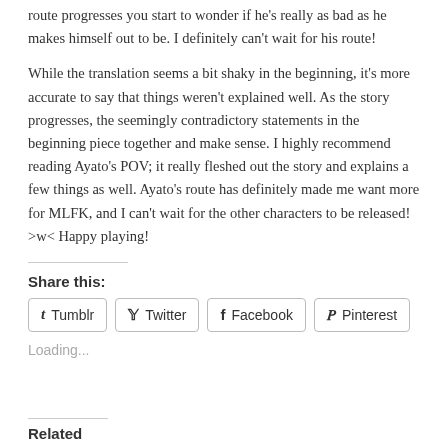route progresses you start to wonder if he's really as bad as he makes himself out to be. I definitely can't wait for his route!
While the translation seems a bit shaky in the beginning, it's more accurate to say that things weren't explained well. As the story progresses, the seemingly contradictory statements in the beginning piece together and make sense. I highly recommend reading Ayato's POV; it really fleshed out the story and explains a few things as well. Ayato's route has definitely made me want more for MLFK, and I can't wait for the other characters to be released! >w< Happy playing!
Share this:
Loading...
Related